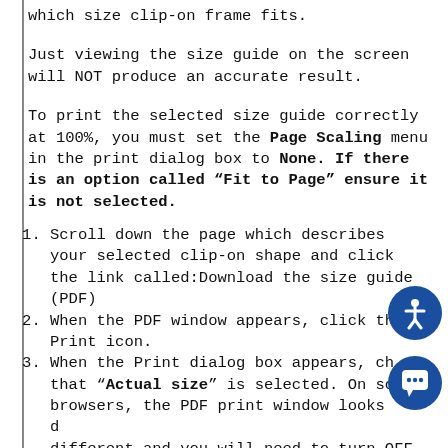which size clip-on frame fits.
Just viewing the size guide on the screen will NOT produce an accurate result.
To print the selected size guide correctly at 100%, you must set the Page Scaling menu in the print dialog box to None. If there is an option called “Fit to Page” ensure it is not selected.
Scroll down the page which describes your selected clip-on shape and click the link called:Download the size guide (PDF)
When the PDF window appears, click the Print icon.
When the Print dialog box appears, check that “Actual size” is selected. On some browsers, the PDF print window looks different and you will need to turn OFF “Fit